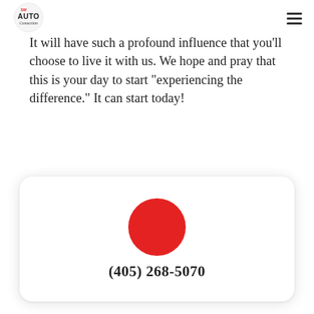SW Auto Connection
It will have such a profound influence that you'll choose to live it with us. We hope and pray that this is your day to start “experiencing the difference.” It can start today!
[Figure (logo): Red circle (phone button) centered in a white rounded card, above a phone number]
(405) 268-5070